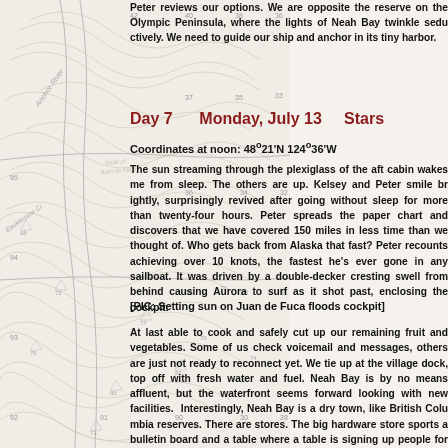[Figure (map): Topographic map background showing Anchor River area with contour lines, roads, and geographic labels including 'Anchor River', 'EauMessne Cr.' and numbered grid references]
Peter reviews our options. We are opposite the reserve on the Olympic Peninsula, where the lights of Neah Bay twinkle seductively. We need to guide our ship and anchor in its tiny harbor.
Day 7     Monday, July 13     Stars
Coordinates at noon:  48°21'N 124°36'W
The sun streaming through the plexiglass of the aft ca... sleep. The others are up. Kelsey and Peter smile br... revived after going without sleep for more than twenty... the paper chart and discovers that we have covered 15... of. Who gets back from Alaska that fast? Peter recou... knots, the fastest he's ever gone in any sailboat. It... double-decker cresting swell from behind causing Au... shot past, enclosing the cockpit.
[PIC: Setting sun on Juan de Fuca floods cockpit]
At last able to cook and safely cut up our remaining fr... us check voicemail and messages, others are just not r... tie up at the village dock, top off with fresh water and... means affluent, but the waterfront seems forward looki... Interestingly, Neah Bay is a dry town, like British Colu... are stores. The big hardware store sports a bulletin bo... table is signing up people for an event. When I pay for...